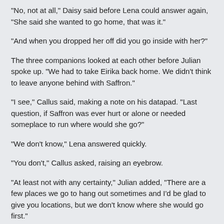"No, not at all," Daisy said before Lena could answer again, "She said she wanted to go home, that was it."
"And when you dropped her off did you go inside with her?"
The three companions looked at each other before Julian spoke up. "We had to take Eirika back home. We didn't think to leave anyone behind with Saffron."
"I see," Callus said, making a note on his datapad. "Last question, if Saffron was ever hurt or alone or needed someplace to run where would she go?"
"We don't know," Lena answered quickly.
"You don't," Callus asked, raising an eyebrow.
"At least not with any certainty," Julian added, "There are a few places we go to hang out sometimes and I'd be glad to give you locations, but we don't know where she would go first."
"Very well," Callus said, sliding his datapad across the table. "Give me the addresses."
Julian leaned over and quickly typed in several addresses for places